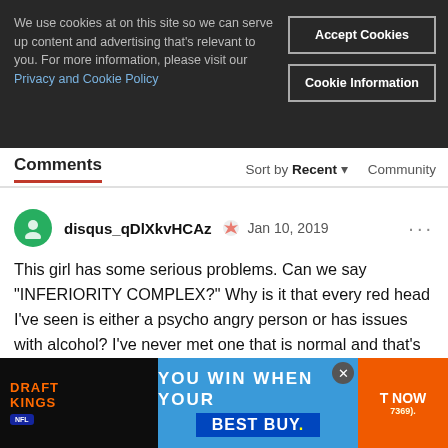We use cookies at on this site so we can serve up content and advertising that's relevant to you. For more information, please visit our Privacy and Cookie Policy
Accept Cookies
Cookie Information
Comments
Sort by Recent ▾
Community
disqus_qDlXkvHCAz     Jan 10, 2019
This girl has some serious problems. Can we say "INFERIORITY COMPLEX?" Why is it that every red head I've seen is either a psycho angry person or has issues with alcohol? I've never met one that is normal and that's why they scare me. That's just been my experience. Not saying she has a drinking problem, but definitely an anger problem with no true justification for the level of anger she displays.
[Figure (screenshot): Advertisement banner showing DraftKings, NFL logo, 'YOU WIN WHEN YOUR' text on blue background, Best Buy logo, and orange 'T NOW' button]